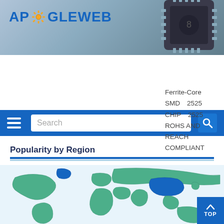[Figure (screenshot): ApogleWeb website header with logo and chip photo background]
[Figure (screenshot): Navigation bar with hamburger menu, search box, and search icon button]
Ferrite-Core　SMD　2525　CHIP　2525　ROHS AND REACH COMPLIANT
Popularity by Region
[Figure (map): World map showing popularity by region with highlighted countries in blue and green]